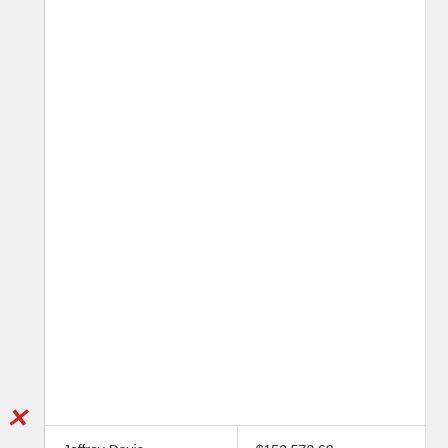| Name | Amount |
| --- | --- |
| Jeffrey Davis | $152,570.68 |
| Alvin Dias | $151,345.14 |
| Eric Forcey | $151,048.93 |
« Previous   Next »